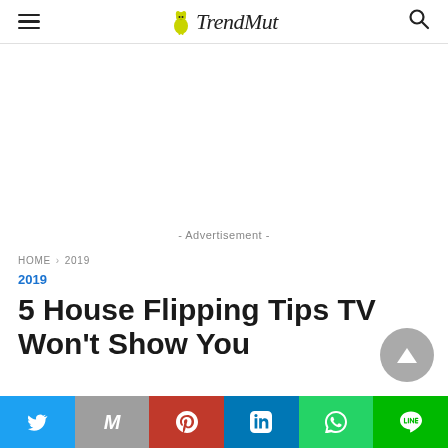TrendMut
[Figure (other): Advertisement placeholder area]
- Advertisement -
HOME › 2019
2019
5 House Flipping Tips TV Won't Show You